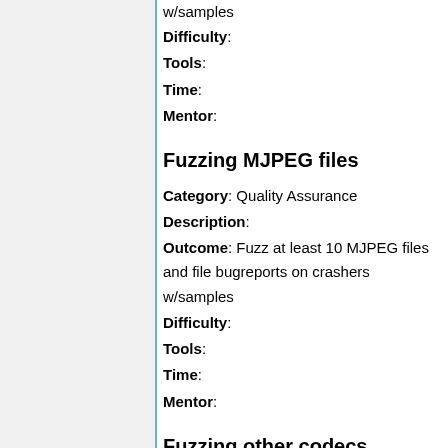w/samples
Difficulty:
Tools:
Time:
Mentor:
Fuzzing MJPEG files
Category: Quality Assurance
Description:
Outcome: Fuzz at least 10 MJPEG files and file bugreports on crashers w/samples
Difficulty:
Tools:
Time:
Mentor:
Fuzzing other codecs
Category: Quality Assurance
Description: Other codecs that aren't as